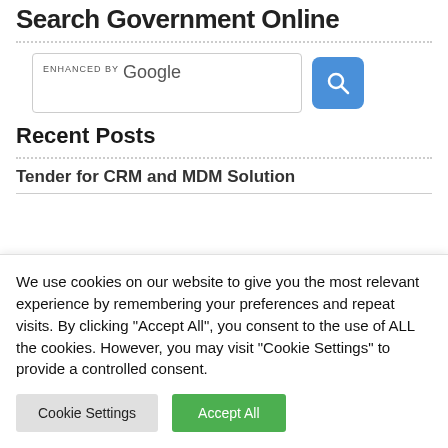Search Government Online
[Figure (screenshot): Google enhanced search box with blue search button]
Recent Posts
Tender for CRM and MDM Solution
We use cookies on our website to give you the most relevant experience by remembering your preferences and repeat visits. By clicking "Accept All", you consent to the use of ALL the cookies. However, you may visit "Cookie Settings" to provide a controlled consent.